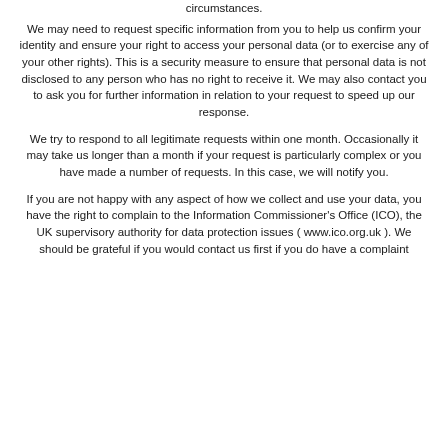circumstances.
We may need to request specific information from you to help us confirm your identity and ensure your right to access your personal data (or to exercise any of your other rights). This is a security measure to ensure that personal data is not disclosed to any person who has no right to receive it. We may also contact you to ask you for further information in relation to your request to speed up our response.
We try to respond to all legitimate requests within one month. Occasionally it may take us longer than a month if your request is particularly complex or you have made a number of requests. In this case, we will notify you.
If you are not happy with any aspect of how we collect and use your data, you have the right to complain to the Information Commissioner's Office (ICO), the UK supervisory authority for data protection issues ( www.ico.org.uk ). We should be grateful if you would contact us first if you do have a complaint